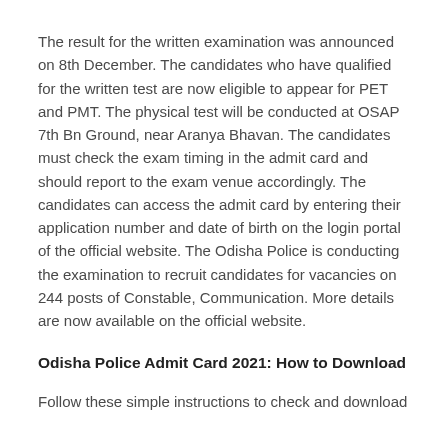The result for the written examination was announced on 8th December. The candidates who have qualified for the written test are now eligible to appear for PET and PMT. The physical test will be conducted at OSAP 7th Bn Ground, near Aranya Bhavan. The candidates must check the exam timing in the admit card and should report to the exam venue accordingly. The candidates can access the admit card by entering their application number and date of birth on the login portal of the official website. The Odisha Police is conducting the examination to recruit candidates for vacancies on 244 posts of Constable, Communication. More details are now available on the official website.
Odisha Police Admit Card 2021: How to Download
Follow these simple instructions to check and download